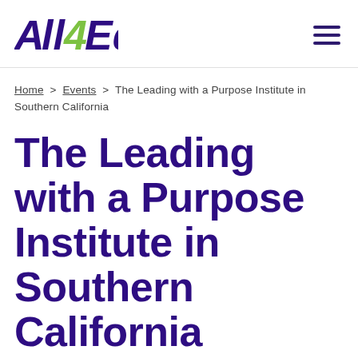All4Ed
Home > Events > The Leading with a Purpose Institute in Southern California
The Leading with a Purpose Institute in Southern California
In-person Event